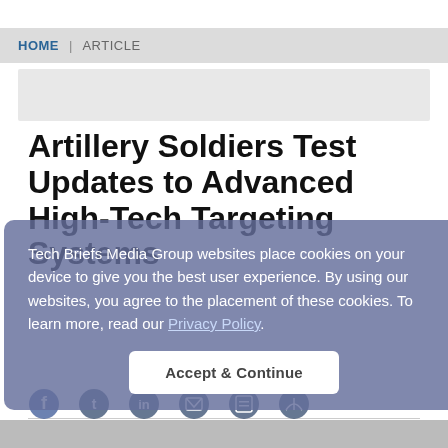HOME | ARTICLE
[Figure (other): Advertisement banner placeholder (gray rectangle)]
Artillery Soldiers Test Updates to Advanced High-Tech Targeting Systems
Tech Briefs Media Group websites place cookies on your device to give you the best user experience. By using our websites, you agree to the placement of these cookies. To learn more, read our Privacy Policy.
Accept & Continue
July 19, 2021
[Figure (photo): Bottom image strip showing partial photo content]